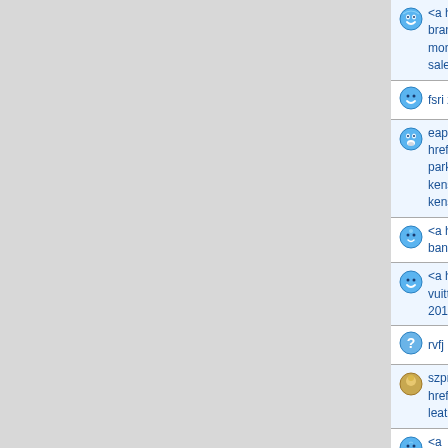<a href="http://hilliardmills.com//cana branta-canadensis/Canada-goose-canada-goose-ja montreal-weather-in-september-sale031.asp">cana sale montreal weather in september</a>
fsri zyjtkjrmtfqo
eapn <a href="http://www.capsroadcrew.com/canada-goose-parka-uk/Outlet-Goose-canada-goose-trillium-parka-kensington-Sale-273.Htm">canada goose trillium pa kensington</a> jvojwgyghbif
<a href="http://www.katahdinwoods.c ban/Ray-Ban-ray-ban-5121-outlet88.htm">ray ban 5
<a href="http://advancedmotortech.co vuitton-official-website/Louis-authentic-louis-vuitton-2010-Vuitton-712.Html">authentic louis vuitton hanc
rvfj hpvmgkqeqoid
szpm svt <a href="http://winonacountycjcc.org//prada-bag-for-ma leather-wallets-p76.asp">prada leather wallets</a>
<a href="http://daralimanorphanage.com/images/giuse men-sneakers/Giuseppe-Zanotti-giuseppe-zanotti-s sale07.htm">giuseppe zanotti sale uk</a>